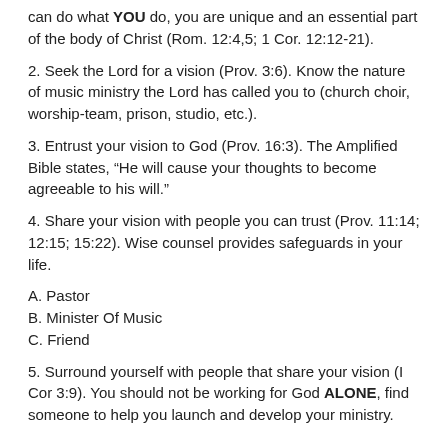can do what YOU do, you are unique and an essential part of the body of Christ (Rom. 12:4,5; 1 Cor. 12:12-21).
2. Seek the Lord for a vision (Prov. 3:6). Know the nature of music ministry the Lord has called you to (church choir, worship-team, prison, studio, etc.).
3. Entrust your vision to God (Prov. 16:3). The Amplified Bible states, “He will cause your thoughts to become agreeable to his will.”
4. Share your vision with people you can trust (Prov. 11:14; 12:15; 15:22). Wise counsel provides safeguards in your life.
A. Pastor
B. Minister Of Music
C. Friend
5. Surround yourself with people that share your vision (I Cor 3:9). You should not be working for God ALONE, find someone to help you launch and develop your ministry.